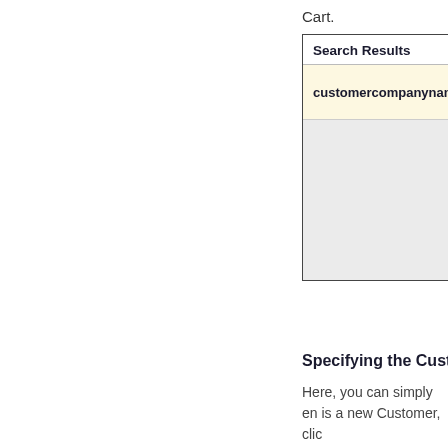Cart.
[Figure (screenshot): Search Results dialog box showing a highlighted row with 'customercompanyname' text in a yellow background, followed by a gray empty area below.]
Specifying the Custo
Here, you can simply en is a new Customer, clic